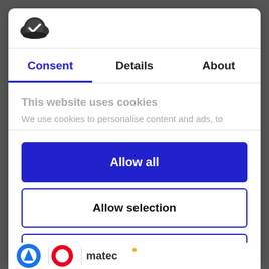[Figure (logo): Cookiebot shield logo icon - dark oval with white checkmark]
Consent	Details	About
This website uses cookies
We use cookies to personalise content and ads, to
Allow all
Allow selection
Deny
Powered by Cookiebot by Usercentrics
[Figure (logo): Bottom logos strip partially visible]